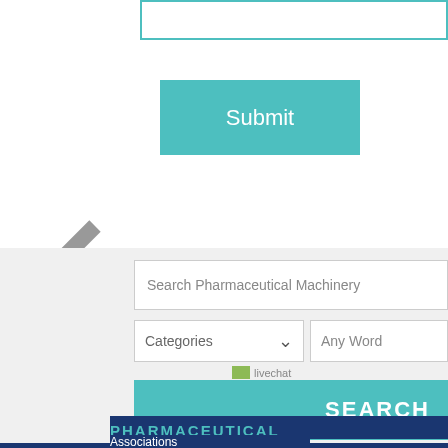[Figure (screenshot): Input text field with teal/cyan border at top of page]
[Figure (screenshot): Teal Submit button]
[Figure (screenshot): Gray left-pointing chevron/back arrow]
[Figure (screenshot): Search form on gray background with 'Search Pharmaceutical Machinery' input, Categories dropdown, Any Word input, livechat icon, and SEARCH button]
PHARMACEUTICAL
Associations